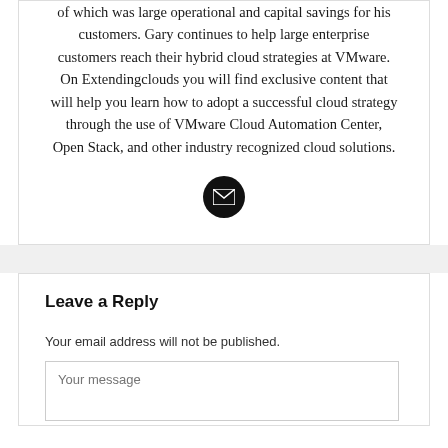of which was large operational and capital savings for his customers. Gary continues to help large enterprise customers reach their hybrid cloud strategies at VMware. On Extendingclouds you will find exclusive content that will help you learn how to adopt a successful cloud strategy through the use of VMware Cloud Automation Center, Open Stack, and other industry recognized cloud solutions.
[Figure (illustration): Black circular email icon with white envelope symbol]
Leave a Reply
Your email address will not be published.
Your message